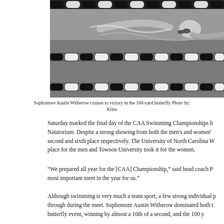[Figure (photo): Black and white photo of a swimmer (Sophomore Austin Witherow) competing in the 100-yard butterfly event, swimming through lane dividers in a pool.]
Sophomore Austin Witherow cruises to victory in the 100-yard butterfly Photo by: Kline
Saturday marked the final day of the CAA Swimming Championships he Natatorium. Despite a strong showing from both the men's and women' second and sixth place respectively. The University of North Carolina W place for the men and Towson University took it for the women.
“We prepared all year for the [CAA] Championship,” said head coach P most important meet in the year for us.”
Although swimming is very much a team sport, a few strong individual p through during the meet. Sophomore Austin Witherow dominated both t butterfly event, winning by almost a 10th of a second, and the 100 y